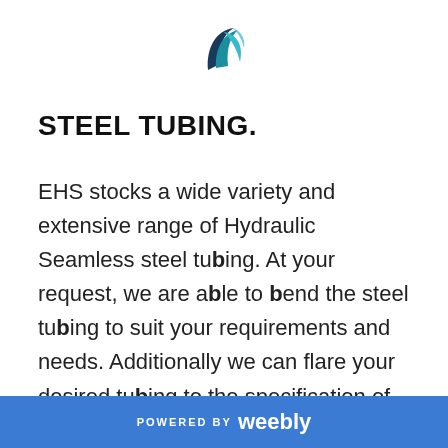[Figure (logo): EHS company logo: two stylized curved lines forming a wave/bird shape in teal and dark blue]
STEEL TUBING.
EHS stocks a wide variety and extensive range of Hydraulic Seamless steel tubing. At your request, we are able to bend the steel tubing to suit your requirements and needs. Additionally we can flare your desired tubing to the specification of male or female.
POWERED BY weebly